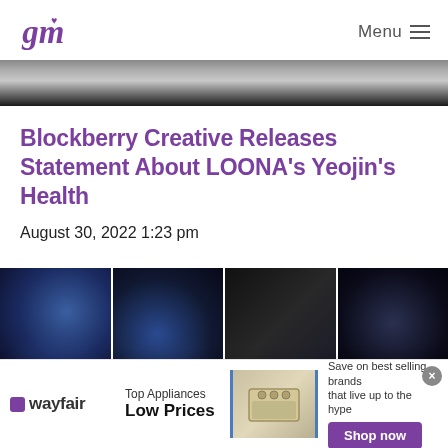GM [logo] | Menu
[Figure (photo): Partial photo of a person with light colored hair, dark background, top portion cropped]
Blockberry Creative Releases Statement About LOONA's Yeojin's Health
August 30, 2022 1:23 pm
[Figure (photo): Gallery strip of four photos showing decorative blue/navy costumes and accessories, possibly stage outfits]
[Figure (other): Wayfair advertisement banner: Top Appliances Low Prices, Save on best selling brands that live up to the hype. Shop now button.]